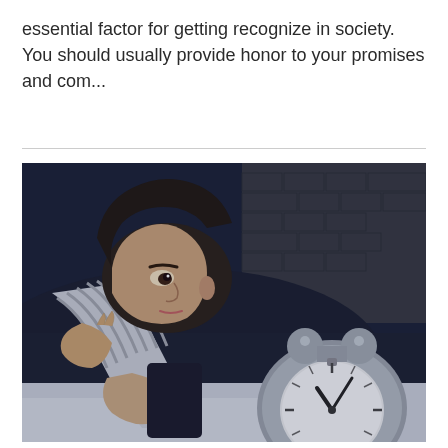essential factor for getting recognize in society. You should usually provide honor to your promises and com...
[Figure (photo): A person lying in bed, looking anxious or unable to sleep, resting their head on a dark pillow with a striped top. An analog alarm clock is visible in the foreground. The background shows a dark brick wall. Low-light, moody photograph.]